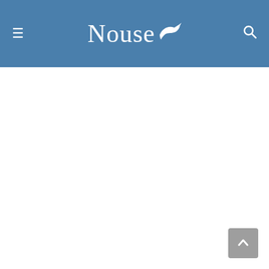Nouse
[Figure (other): Blank white main content area below the Nouse header navigation bar]